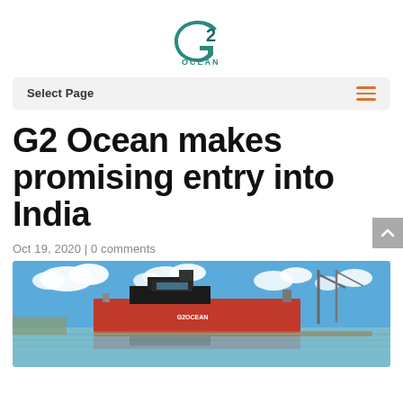[Figure (logo): G2 Ocean logo: stylized G2 icon in teal/dark teal above the word OCEAN in teal capital letters]
Select Page
G2 Ocean makes promising entry into India
Oct 19, 2020 | 0 comments
[Figure (photo): A large red and black cargo ship bearing the G2Ocean logo docked at a port with cranes in the background, under a blue sky with white clouds, with water reflecting the scene in the foreground.]